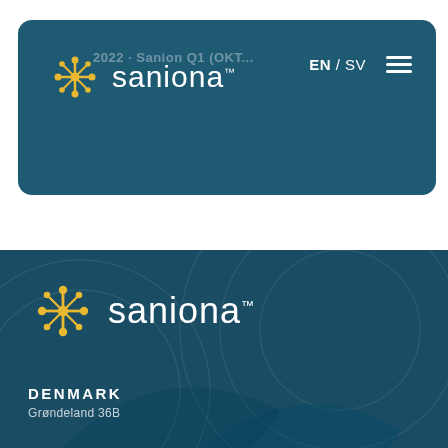[Figure (screenshot): Saniona website navigation bar with logo (golden cross/star icon + 'saniona' wordmark in white), language switcher EN/SV, and hamburger menu on dark teal background]
[Figure (logo): Saniona footer section with logo, decorative circular patterns in dark teal, DENMARK heading and partial address text 'Grøndeland 36B']